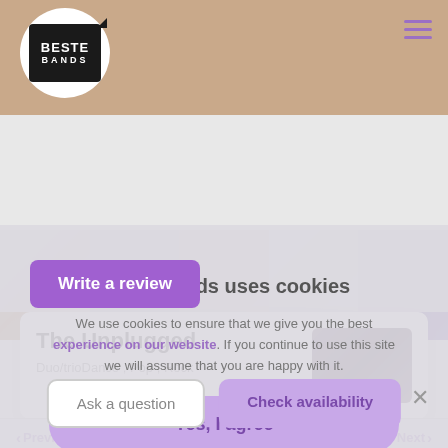Beste Bands
[Figure (screenshot): Five thumbnail images of band performances in a horizontal strip]
Beste Bands uses cookies
We use cookies to ensure that we give you the best experience on our website. If you continue to use this site we will assume that you are happy with it.
Yes, I agree
Write a review
Do you want more information about cookies on this website? Click here!
Previous
Next
The Unplugged
Duo/trioDance , Pop , Rock
Ask a question
Check availability